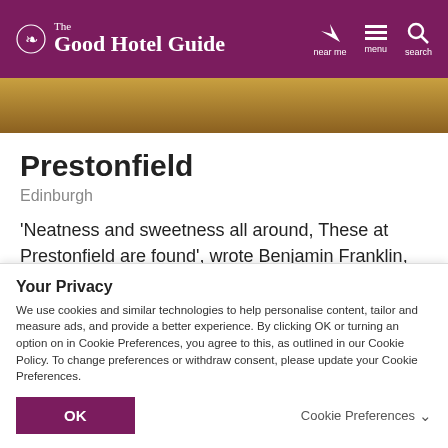The Good Hotel Guide — near me, menu, search
[Figure (photo): Partial view of hotel interior photo strip — warm golden/amber tones]
Prestonfield
Edinburgh
'Neatness and sweetness all around, These at Prestonfield are found', wrote Benjamin Franklin, after a stay at this 17th-century mansion in parkland under
Your Privacy
We use cookies and similar technologies to help personalise content, tailor and measure ads, and provide a better experience. By clicking OK or turning an option on in Cookie Preferences, you agree to this, as outlined in our Cookie Policy. To change preferences or withdraw consent, please update your Cookie Preferences.
OK   Cookie Preferences